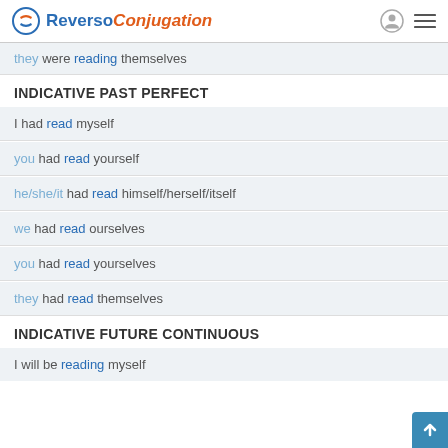Reverso Conjugation
they were reading themselves
INDICATIVE PAST PERFECT
I had read myself
you had read yourself
he/she/it had read himself/herself/itself
we had read ourselves
you had read yourselves
they had read themselves
INDICATIVE FUTURE CONTINUOUS
I will be reading myself